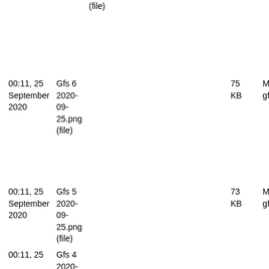(file)
00:11, 25 September 2020	Gfs 6 2020-09-25.png (file)	75 KB	Mingli gfs
00:11, 25 September 2020	Gfs 5 2020-09-25.png (file)	73 KB	Mingli gfs
00:11, 25	Gfs 4 2020-